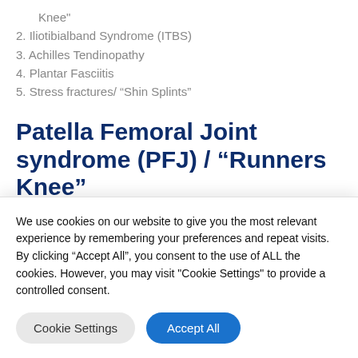Knee"
2. Iliotibialband Syndrome (ITBS)
3. Achilles Tendinopathy
4. Plantar Fasciitis
5. Stress fractures/ “Shin Splints”
Patella Femoral Joint syndrome (PFJ) / “Runners Knee”
We use cookies on our website to give you the most relevant experience by remembering your preferences and repeat visits. By clicking “Accept All”, you consent to the use of ALL the cookies. However, you may visit "Cookie Settings" to provide a controlled consent.